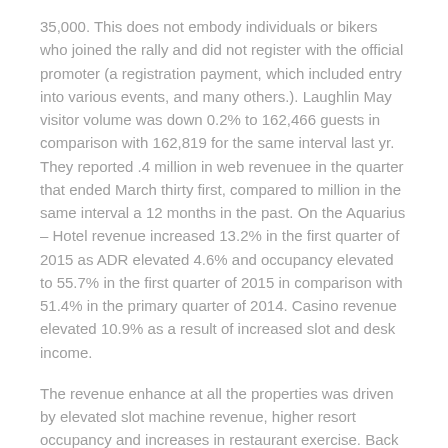35,000. This does not embody individuals or bikers who joined the rally and did not register with the official promoter (a registration payment, which included entry into various events, and many others.). Laughlin May visitor volume was down 0.2% to 162,466 guests in comparison with 162,819 for the same interval last yr. They reported .4 million in web revenuee in the quarter that ended March thirty first, compared to million in the same interval a 12 months in the past. On the Aquarius – Hotel revenue increased 13.2% in the first quarter of 2015 as ADR elevated 4.6% and occupancy elevated to 55.7% in the first quarter of 2015 in comparison with 51.4% in the primary quarter of 2014. Casino revenue elevated 10.9% as a result of increased slot and desk income.
The revenue enhance at all the properties was driven by elevated slot machine revenue, higher resort occupancy and increases in restaurant exercise. Back in September we shared a narrative about the brand new Buffalo's restaurant within the Riverside Casino. The brand new event heart is located just up from Casino Drive, behind the outlet mall. After every week there is no such thing as a excuse that somebody has not addressed these security hazards. Deepak Kamani wished to reap the benefits of the growing Indian financial system to flourish the hospitality enterprise for the Zuri Group Global